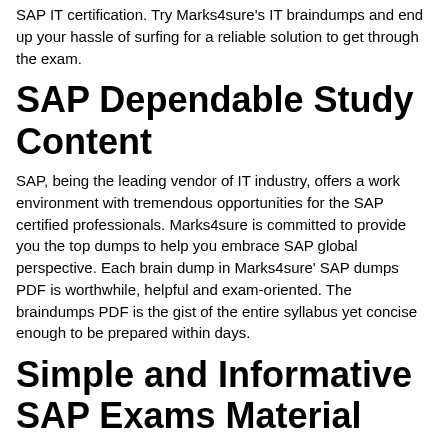SAP IT certification. Try Marks4sure's IT braindumps and end up your hassle of surfing for a reliable solution to get through the exam.
SAP Dependable Study Content
SAP, being the leading vendor of IT industry, offers a work environment with tremendous opportunities for the SAP certified professionals. Marks4sure is committed to provide you the top dumps to help you embrace SAP global perspective. Each brain dump in Marks4sure' SAP dumps PDF is worthwhile, helpful and exam-oriented. The braindumps PDF is the gist of the entire syllabus yet concise enough to be prepared within days.
Simple and Informative SAP Exams Material
The actual SAP exam demands a clear understanding and exposure of the syllabus content. Marks4sure's dumps fulfill this exam requirement absolutely, providing you the best exam dumps